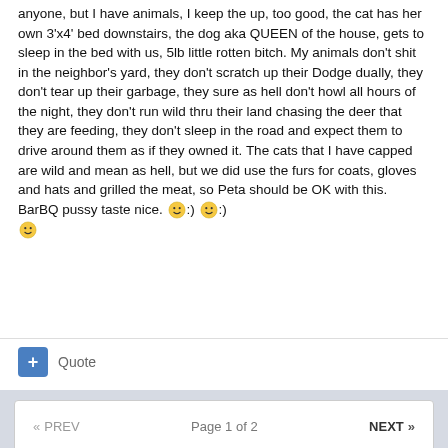anyone, but I have animals, I keep the up, too good, the cat has her own 3'x4' bed downstairs, the dog aka QUEEN of the house, gets to sleep in the bed with us, 5lb little rotten bitch. My animals don't shit in the neighbor's yard, they don't scratch up their Dodge dually, they don't tear up their garbage, they sure as hell don't howl all hours of the night, they don't run wild thru their land chasing the deer that they are feeding, they don't sleep in the road and expect them to drive around them as if they owned it. The cats that I have capped are wild and mean as hell, but we did use the furs for coats, gloves and hats and grilled the meat, so Peta should be OK with this. BarBQ pussy taste nice. 🙂:)🙂:) 🙂
+ Quote
« PREV   Page 1 of 2   NEXT »